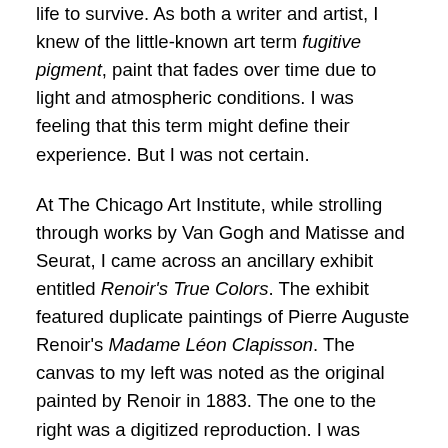life to survive. As both a writer and artist, I knew of the little-known art term fugitive pigment, paint that fades over time due to light and atmospheric conditions. I was feeling that this term might define their experience. But I was not certain.
At The Chicago Art Institute, while strolling through works by Van Gogh and Matisse and Seurat, I came across an ancillary exhibit entitled Renoir's True Colors. The exhibit featured duplicate paintings of Pierre Auguste Renoir's Madame Léon Clapisson. The canvas to my left was noted as the original painted by Renoir in 1883. The one to the right was a digitized reproduction. I was struck by how much brighter the reproduction was. Confused, I began reading the explanation of the exhibit displayed on the wall. When removing the canvas from its frame to clean it, conservators discovered that the painting had significantly faded over time as a result of the artist's use of fugitive pigments. A few months later, my new novel, Scarlet In Blue, began to take shape.